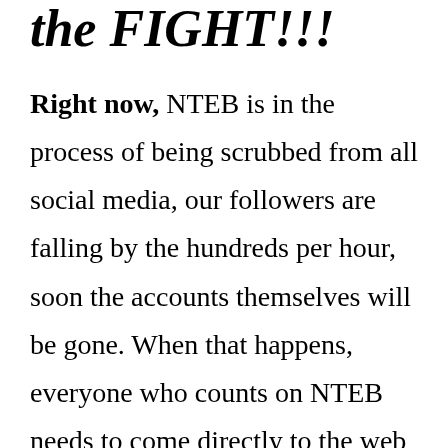the FIGHT!!!
Right now, NTEB is in the process of being scrubbed from all social media, our followers are falling by the hundreds per hour, soon the accounts themselves will be gone. When that happens, everyone who counts on NTEB needs to come directly to the web site every day. The Lord has called me to this fight, and by His grace I will man my post here at the forefront of this end times fight for as long as He allows me to do so. Now more than ever, I